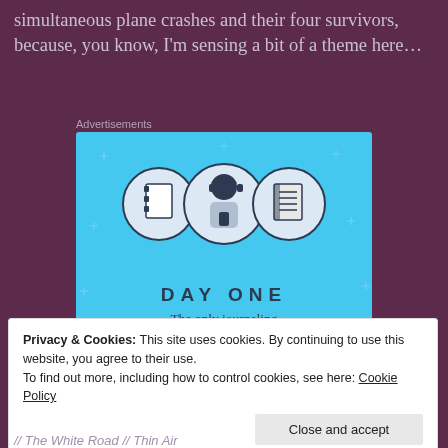simultaneous plane crashes and their four survivors, because, you know, I'm sensing a bit of a theme here…
Advertisements
[Figure (illustration): Day One journaling app advertisement. Light blue background with sparkle dots. Three circular icons at top showing a notebook, a person holding a phone, and a lined notepad. Below: 'DAY ONE' in bold spaced letters, 'The only journaling app you'll ever need.' tagline, and a dark blue 'Get the app' button.]
Privacy & Cookies: This site uses cookies. By continuing to use this website, you agree to their use.
To find out more, including how to control cookies, see here: Cookie Policy
Close and accept
// The White Road // Thin Air